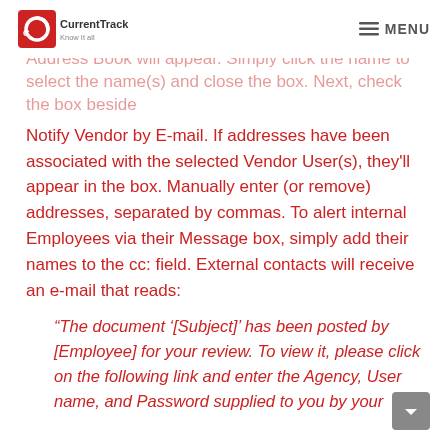CurrentTrack — Know It all | MENU
Address Book will appear. Simply click the name to select the name(s) and close the box. Next, check the box beside Notify Vendor by E-mail. If addresses have been associated with the selected Vendor User(s), they'll appear in the box. Manually enter (or remove) addresses, separated by commas. To alert internal Employees via their Message box, simply add their names to the cc: field. External contacts will receive an e-mail that reads:
“The document ‘[Subject]’ has been posted by [Employee] for your review. To view it, please click on the following link and enter the Agency, User name, and Password supplied to you by your